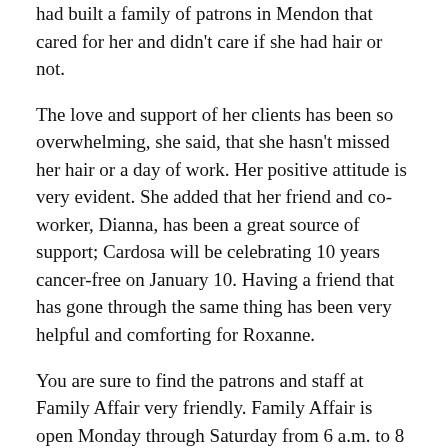had built a family of patrons in Mendon that cared for her and didn't care if she had hair or not.
The love and support of her clients has been so overwhelming, she said, that she hasn't missed her hair or a day of work. Her positive attitude is very evident. She added that her friend and co-worker, Dianna, has been a great source of support; Cardosa will be celebrating 10 years cancer-free on January 10. Having a friend that has gone through the same thing has been very helpful and comforting for Roxanne.
You are sure to find the patrons and staff at Family Affair very friendly. Family Affair is open Monday through Saturday from 6 a.m. to 8 p.m. and Sunday from 7 a.m. to 3 p.m. Breakfast is served all day and is a big draw. Round-table regulars and other guests can choose from set daily specials along with burgers, soup, salads, sandwiches, wraps and baskets. Something more